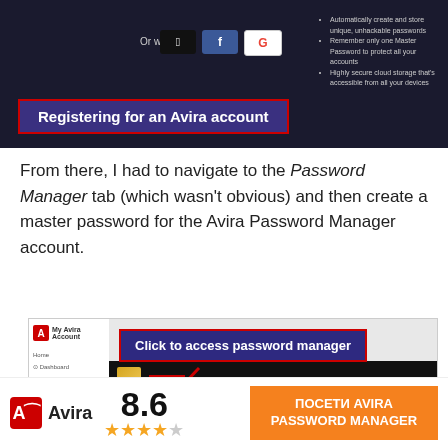[Figure (screenshot): Dark-themed registration screen with social sign-in buttons (Apple, Facebook, Google) and a purple banner labeled 'Registering for an Avira account' with red border. Right side shows bullet points about password manager features.]
From there, I had to navigate to the Password Manager tab (which wasn't obvious) and then create a master password for the Avira Password Manager account.
[Figure (screenshot): Avira account dashboard screenshot with a purple banner labeled 'Click to access password manager' with red border. Shows sidebar navigation and a promotional banner. Red arrow points to the password manager option.]
[Figure (infographic): Footer bar showing Avira logo with red shield icon, score of 8.6 with 4 star rating, and orange CTA button reading 'ПОСЕТИ AVIRA PASSWORD MANAGER']